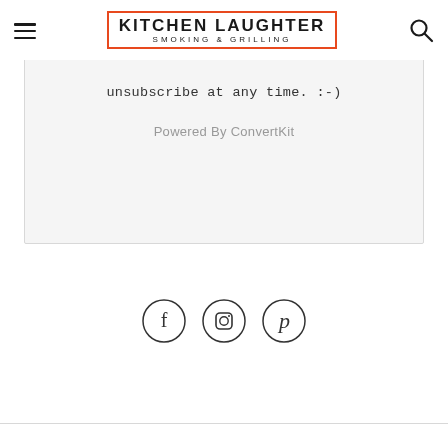Kitchen Laughter — Smoking & Grilling
unsubscribe at any time. :-)
Powered By ConvertKit
[Figure (infographic): Three social media icons in circles: Facebook (f), Instagram (camera), Pinterest (p)]